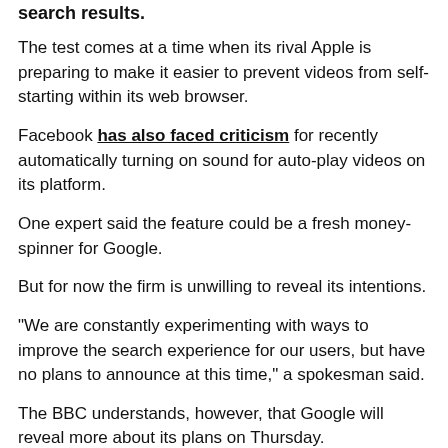search results.
The test comes at a time when its rival Apple is preparing to make it easier to prevent videos from self-starting within its web browser.
Facebook has also faced criticism for recently automatically turning on sound for auto-play videos on its platform.
One expert said the feature could be a fresh money-spinner for Google.
But for now the firm is unwilling to reveal its intentions.
"We are constantly experimenting with ways to improve the search experience for our users, but have no plans to announce at this time," a spokesman said.
The BBC understands, however, that Google will reveal more about its plans on Thursday.